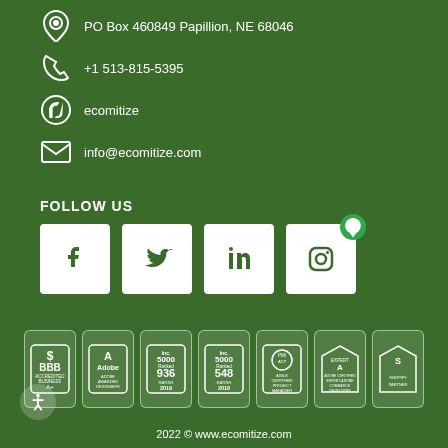PO Box 460849 Papillion, NE 68046
+1 513-815-5395
ecomitize
info@ecomitize.com
FOLLOW US
[Figure (illustration): Social media icons: Facebook, Twitter, LinkedIn, Instagram with chat bubble overlay]
[Figure (illustration): Certification badges: BBB Accredited Business, Adobe Awarded Designers, Inc 5000 Ranked 936 Rating 2019, Inc 5000 Ranked 548 Rating 2018, PMI-ACP Agile Certified Project Manager, Adobe Certified Expert-Adobe Commerce Developer, Shopify Partner]
2022 © www.ecomitize.com